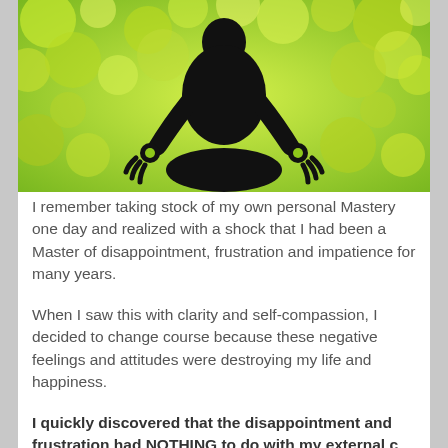[Figure (illustration): Silhouette of a person sitting in meditation lotus pose against a bright green bokeh background with circular light orbs]
I remember taking stock of my own personal Mastery one day and realized with a shock that I had been a Master of disappointment, frustration and impatience for many years.
When I saw this with clarity and self-compassion, I decided to change course because these negative feelings and attitudes were destroying my life and happiness.
I quickly discovered that the disappointment and frustration had NOTHING to do with my external c...